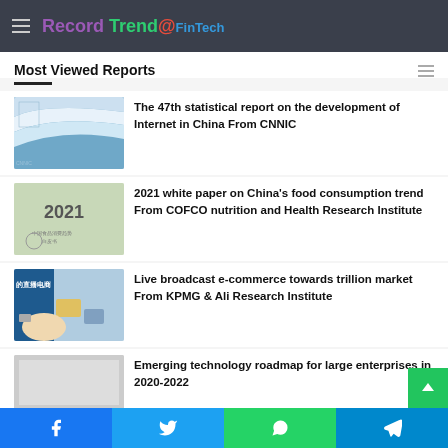Record Trend FinTech
Most Viewed Reports
[Figure (screenshot): Thumbnail of 47th CNNIC report cover with blue wave design]
The 47th statistical report on the development of Internet in China From CNNIC
[Figure (screenshot): 2021 white paper cover with Chinese text]
2021 white paper on China's food consumption trend From COFCO nutrition and Health Research Institute
[Figure (screenshot): Live broadcast e-commerce cover with Chinese text 的直播电商]
Live broadcast e-commerce towards trillion market From KPMG & Ali Research Institute
[Figure (screenshot): Emerging technology roadmap cover (partial)]
Emerging technology roadmap for large enterprises in 2020-2022
Facebook | Twitter | WhatsApp | Telegram